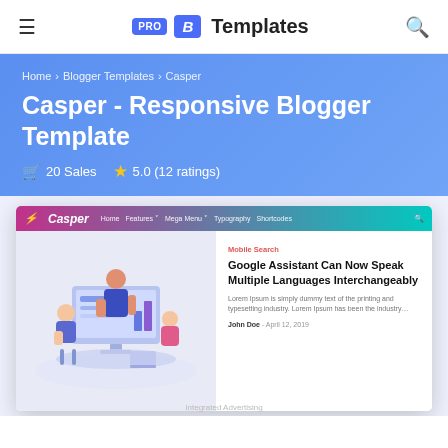PRO B Templates
Home › Blogger Templates › Casper
Casper - Responsive Blogger Template
20 Sales  5.0 (12 ratings)
[Figure (screenshot): Preview screenshot of the Casper Blogger Template showing navigation bar with gradient from pink to teal, and a featured article about Google Assistant speaking multiple languages, with an isometric illustration of people in a meeting.]